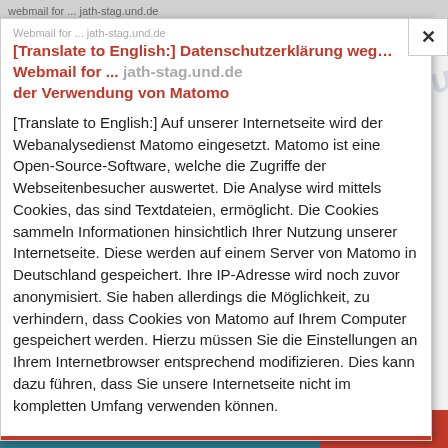webmail for ... jath-stag.und.de
[Translate to English:] Datenschutzerklärung wegen der Verwendung von Matomo
[Translate to English:] Auf unserer Internetseite wird der Webanalysedienst Matomo eingesetzt. Matomo ist eine Open-Source-Software, welche die Zugriffe der Webseitenbesucher auswertet. Die Analyse wird mittels Cookies, das sind Textdateien, ermöglicht. Die Cookies sammeln Informationen hinsichtlich Ihrer Nutzung unserer Internetseite. Diese werden auf einem Server von Matomo in Deutschland gespeichert. Ihre IP-Adresse wird noch zuvor anonymisiert. Sie haben allerdings die Möglichkeit, zu verhindern, dass Cookies von Matomo auf Ihrem Computer gespeichert werden. Hierzu müssen Sie die Einstellungen an Ihrem Internetbrowser entsprechend modifizieren. Dies kann dazu führen, dass Sie unsere Internetseite nicht im kompletten Umfang verwenden können.
gut